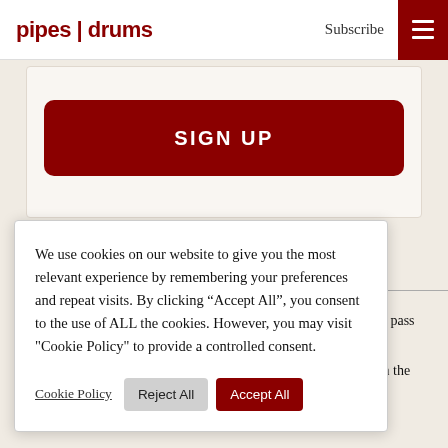pipes | drums  Subscribe
SIGN UP
We use cookies on our website to give you the most relevant experience by remembering your preferences and repeat visits. By clicking “Accept All”, you consent to the use of ALL the cookies. However, you may visit "Cookie Policy" to provide a controlled consent.
Cookie Policy  Reject All  Accept All
’t take a pass s; Peter ndy win the